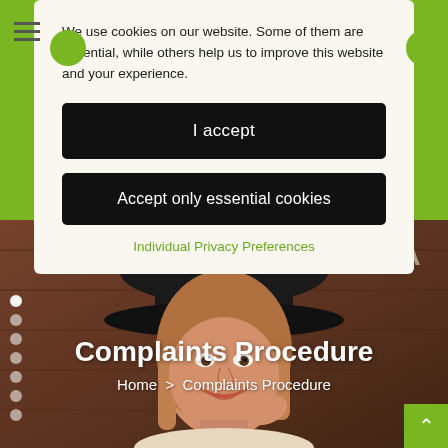We use cookies on our website. Some of them are essential, while others help us to improve this website and your experience.
I accept
Accept only essential cookies
Individual Privacy Preferences
Complaints Procedure
Home > Complaints Procedure